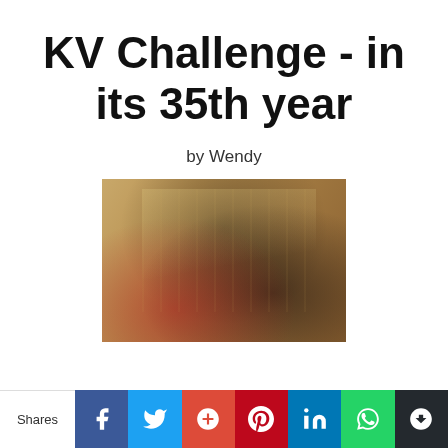KV Challenge - in its 35th year
by Wendy
[Figure (photo): Blurred action photo of people playing a sport (possibly lacrosse or floor hockey) on a wooden gymnasium floor, showing players' legs and sticks in motion.]
Shares | Facebook | Twitter | Google+ | Pinterest | LinkedIn | WhatsApp | Crown/bookmark